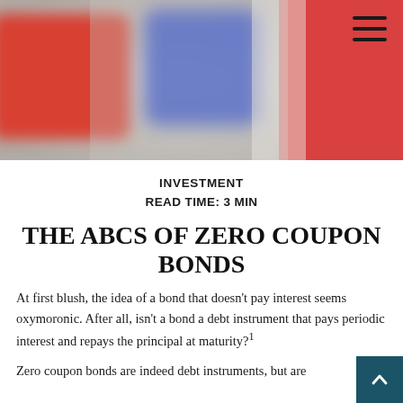[Figure (photo): Blurred photo of red and blue blocks/letters on a light background, with a red background on the right side. A hamburger menu icon appears in the top-right corner.]
INVESTMENT
READ TIME: 3 MIN
THE ABCS OF ZERO COUPON BONDS
At first blush, the idea of a bond that doesn't pay interest seems oxymoronic. After all, isn't a bond a debt instrument that pays periodic interest and repays the principal at maturity?¹
Zero coupon bonds are indeed debt instruments, but are